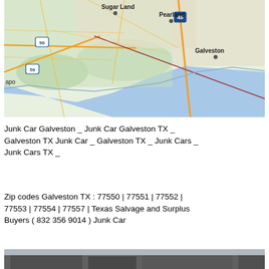[Figure (map): Google Maps view showing Sugar Land, Pearland, Galveston TX area with highway routes 90, 59, 45 marked, coastline visible, roads in yellow/orange on green/tan terrain background]
Junk Car Galveston _ Junk Car Galveston TX _ Galveston TX Junk Car _ Galveston TX _ Junk Cars _ Junk Cars TX _
Zip codes Galveston TX : 77550 | 77551 | 77552 | 77553 | 77554 | 77557 | Texas Salvage and Surplus Buyers ( 832 356 9014 ) Junk Car
[Figure (photo): Partial photo strip at bottom of page showing what appears to be a junkyard or salvage yard exterior]